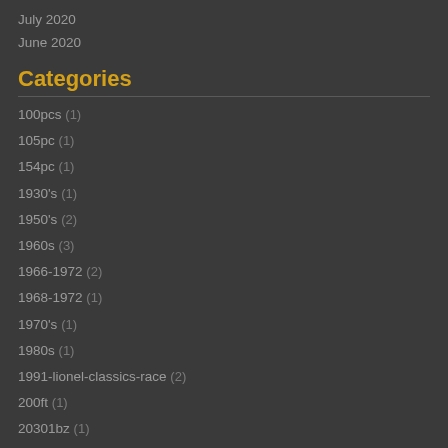July 2020
June 2020
Categories
100pcs (1)
105pc (1)
154pc (1)
1930's (1)
1950's (2)
1960s (3)
1966-1972 (2)
1968-1972 (1)
1970's (1)
1980s (1)
1991-lionel-classics-race (2)
200ft (1)
20301bz (1)
258mm (1)